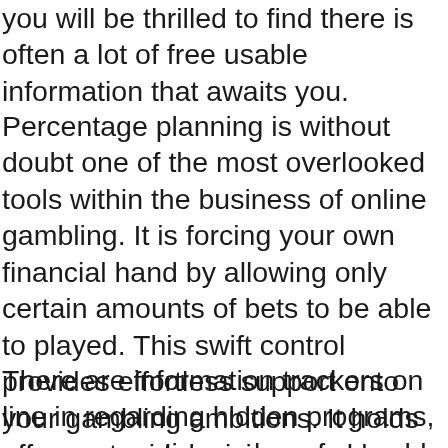you will be thrilled to find there is often a lot of free usable information that awaits you.
Percentage planning is without doubt one of the most overlooked tools within the business of online gambling. It is forcing your own financial hand by allowing only certain amounts of bets to be able to played. This swift control provides effortless support onto your gambling ambitions. It holds off any stupid decisions and leaves only room for direct strategy. By placing a ten percent limit on any given day, youll play precise and decisive in are often the do, plus you'll never have your bankroll crushed.
There are information trackers on line in regarding hidden programs, an unsuspecting web surfer could be at risk of insecurity resulting from internet counterfeiters. Most times, may possibly be that